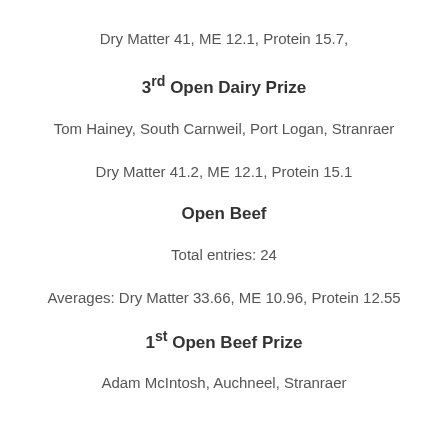Dry Matter 41, ME 12.1, Protein 15.7,
3rd Open Dairy Prize
Tom Hainey, South Carnweil, Port Logan, Stranraer
Dry Matter 41.2, ME 12.1, Protein 15.1
Open Beef
Total entries: 24
Averages: Dry Matter 33.66, ME 10.96, Protein 12.55
1st Open Beef Prize
Adam McIntosh, Auchneel, Stranraer